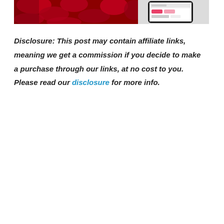[Figure (photo): Partial view of a photo showing red flowers/poinsettias and a smartphone with app interface visible, cropped at the top of the page]
Disclosure: This post may contain affiliate links, meaning we get a commission if you decide to make a purchase through our links, at no cost to you. Please read our disclosure for more info.